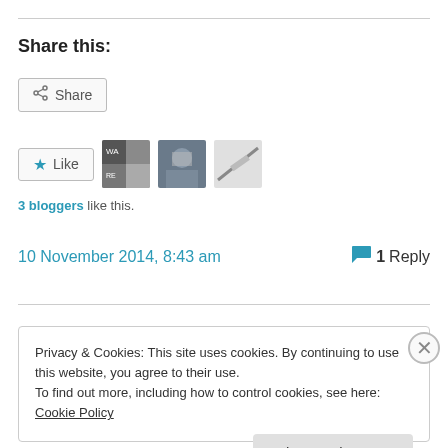Share this:
Share
Like  3 bloggers like this.
10 November 2014, 8:43 am  1 Reply
Privacy & Cookies: This site uses cookies. By continuing to use this website, you agree to their use. To find out more, including how to control cookies, see here: Cookie Policy
Close and accept